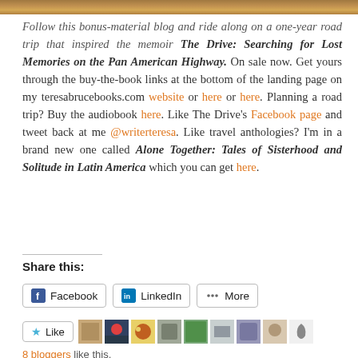[Figure (photo): Top image strip — a partial photo, likely a road or landscape scene (browns and tans), cropped to a narrow horizontal strip at the very top of the page.]
Follow this bonus-material blog and ride along on a one-year road trip that inspired the memoir The Drive: Searching for Lost Memories on the Pan American Highway. On sale now. Get yours through the buy-the-book links at the bottom of the landing page on my teresabrucebooks.com website or here or here. Planning a road trip? Buy the audiobook here. Like The Drive's Facebook page and tweet back at me @writerteresa. Like travel anthologies? I'm in a brand new one called Alone Together: Tales of Sisterhood and Solitude in Latin America which you can get here.
Share this:
Facebook  LinkedIn  More
Like  [avatars]  8 bloggers like this.